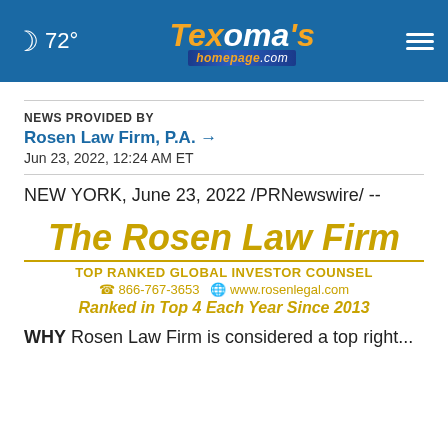72° Texoma's homepage.com
NEWS PROVIDED BY
Rosen Law Firm, P.A. →
Jun 23, 2022, 12:24 AM ET
NEW YORK, June 23, 2022 /PRNewswire/ --
[Figure (logo): The Rosen Law Firm - TOP RANKED GLOBAL INVESTOR COUNSEL - 866-767-3653 - www.rosenlegal.com - Ranked in Top 4 Each Year Since 2013]
WHY Rosen Law Firm is considered a top right...